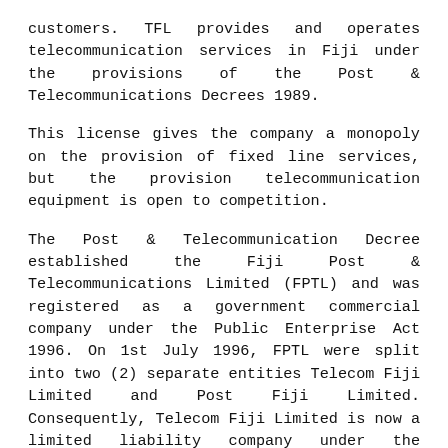customers. TFL provides and operates telecommunication services in Fiji under the provisions of the Post & Telecommunications Decrees 1989.
This license gives the company a monopoly on the provision of fixed line services, but the provision telecommunication equipment is open to competition.
The Post & Telecommunication Decree established the Fiji Post & Telecommunications Limited (FPTL) and was registered as a government commercial company under the Public Enterprise Act 1996. On 1st July 1996, FPTL were split into two (2) separate entities Telecom Fiji Limited and Post Fiji Limited. Consequently, Telecom Fiji Limited is now a limited liability company under the Company's Act.
Telecom Fiji offers a full range of products and services over our highly scalable and secure network, including data networking solutions, managed services, collocation, cloud